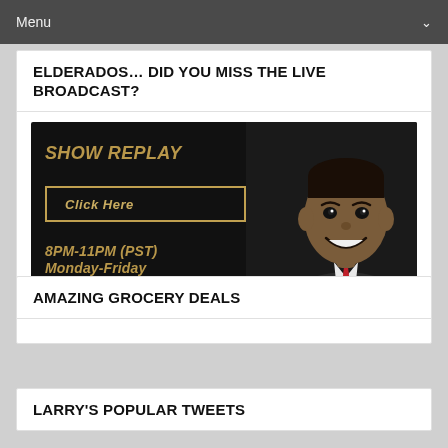Menu
ELDERADOS… DID YOU MISS THE LIVE BROADCAST?
[Figure (illustration): Show replay banner with dark background, gold italic text reading 'SHOW REPLAY', a bordered button 'Click Here', text '8PM-11PM (PST) Monday-Friday', and a photo of a smiling man in a suit on the right side.]
AMAZING GROCERY DEALS
LARRY'S POPULAR TWEETS